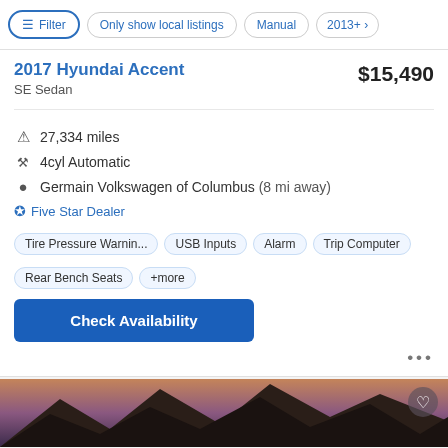Filter | Only show local listings | Manual | 2013+
2017 Hyundai Accent
SE Sedan
$15,490
27,334 miles
4cyl Automatic
Germain Volkswagen of Columbus (8 mi away)
Five Star Dealer
Tire Pressure Warnin...
USB Inputs
Alarm
Trip Computer
Rear Bench Seats
+more
Check Availability
[Figure (photo): Partial image of a mountain landscape at dusk with rocky peaks against a purple-orange sky, with a heart/favorite icon button in the top right corner.]